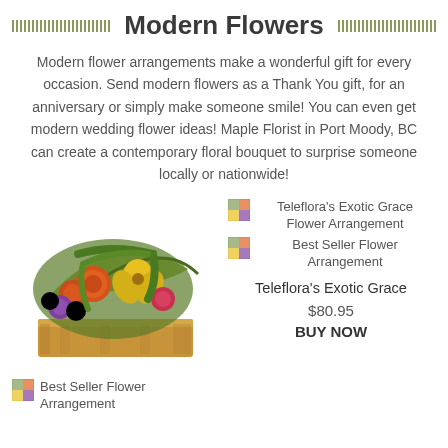Modern Flowers
Modern flower arrangements make a wonderful gift for every occasion. Send modern flowers as a Thank You gift, for an anniversary or simply make someone smile! You can even get modern wedding flower ideas! Maple Florist in Port Moody, BC can create a contemporary floral bouquet to surprise someone locally or nationwide!
[Figure (photo): Colorful flower arrangement with orange roses, yellow lilies, purple freesias, and green foliage in a wooden box]
[Figure (photo): Teleflora's Exotic Grace Flower Arrangement thumbnail image]
[Figure (photo): Best Seller Flower Arrangement thumbnail image]
Teleflora's Exotic Grace
$80.95
BUY NOW
[Figure (photo): Best Seller Flower Arrangement thumbnail image (second row)]
Best Seller Flower Arrangement